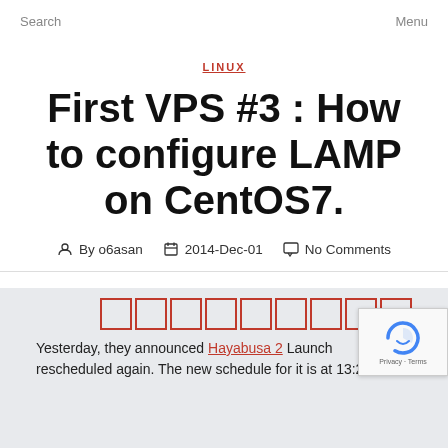Search    Menu
LINUX
First VPS #3 : How to configure LAMP on CentOS7.
By o6asan   2014-Dec-01   No Comments
[Figure (other): Row of Japanese character boxes rendered in red outline squares]
Yesterday, they announced Hayabusa 2 Launch rescheduled again. The new schedule for it is at 13:22:04...